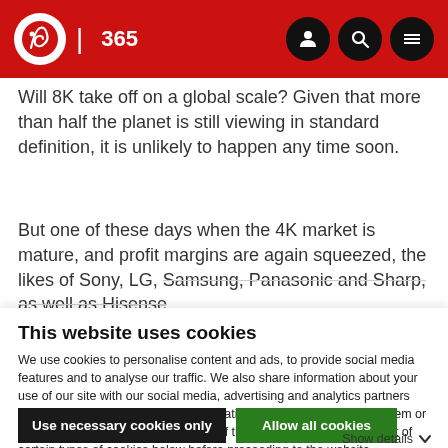IBC 365
Will 8K take off on a global scale? Given that more than half the planet is still viewing in standard definition, it is unlikely to happen any time soon.
But one of these days when the 4K market is mature, and profit margins are again squeezed, the likes of Sony, LG, Samsung, Panasonic and Sharp, as well as Hisense
This website uses cookies
We use cookies to personalise content and ads, to provide social media features and to analyse our traffic. We also share information about your use of our site with our social media, advertising and analytics partners who may combine it with other information that you've provided to them or that they've collected from your use of their services. You can opt out of certain types of cookies below before proceeding to the website.
Use necessary cookies only
Allow all cookies
Show details